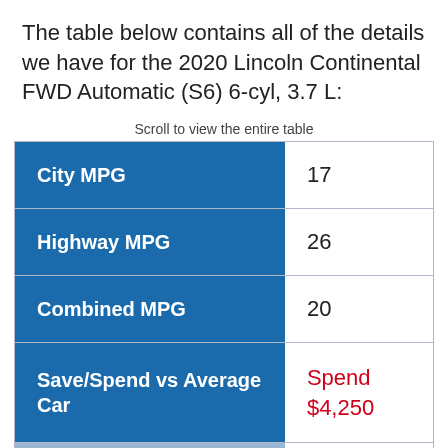The table below contains all of the details we have for the 2020 Lincoln Continental FWD Automatic (S6) 6-cyl, 3.7 L:
Scroll to view the entire table
|  |  |
| --- | --- |
| City MPG | 17 |
| Highway MPG | 26 |
| Combined MPG | 20 |
| Save/Spend vs Average Car | Spend $4,250 |
| Fuel Cost | $3,150 |